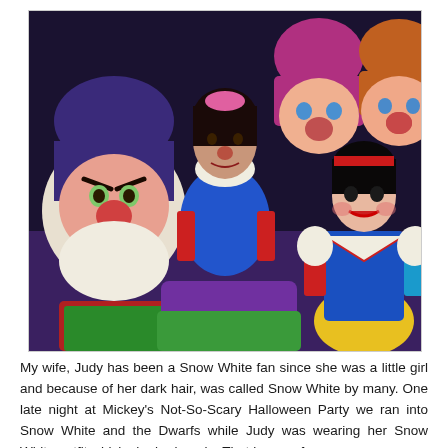[Figure (photo): A woman wearing a Snow White costume poses with large-headed Snow White and Seven Dwarfs character mascots/performers at Mickey's Not-So-Scary Halloween Party at Disney. The characters visible include Grumpy (left, with frowning expression), Dopey (front center, large purple hat and big ears, smiling), and other Dwarfs in colorful hats. A professional Snow White character in full costume is on the right. The woman's Snow White outfit is homemade.]
My wife, Judy has been a Snow White fan since she was a little girl and because of her dark hair, was called Snow White by many. One late night at Mickey's Not-So-Scary Halloween Party we ran into Snow White and the Dwarfs while Judy was wearing her Snow White outfit which she had made. That is one of our